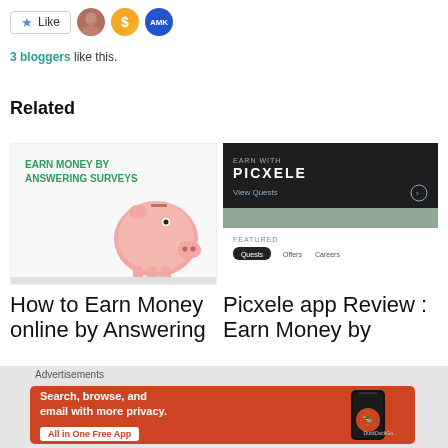[Figure (screenshot): Like button with star icon, and three user avatar icons (photo, dollar coin, AMK logo)]
3 bloggers like this.
Related
[Figure (screenshot): Thumbnail image for 'How to Earn Money online by Answering Surveys' with piggy bank image and green text on white background]
[Figure (screenshot): Thumbnail for Picxele app showing dark header with EARN WITH PICXELE text, View Quests link, and Featured tabs including Quests, Offers, Careers]
How to Earn Money online by Answering
Picxele app Review : Earn Money by
[Figure (screenshot): DuckDuckGo advertisement banner with orange background. Text: Search, browse, and email with more privacy. All in One Free App. Shows phone with DuckDuckGo logo.]
Advertisements